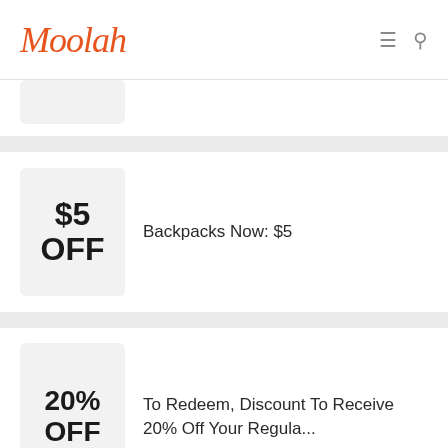Moolah
[Figure (screenshot): Partially visible coupon card at top, cut off]
$5 OFF | Backpacks Now: $5
20% OFF | To Redeem, Discount To Receive 20% Off Your Regula...